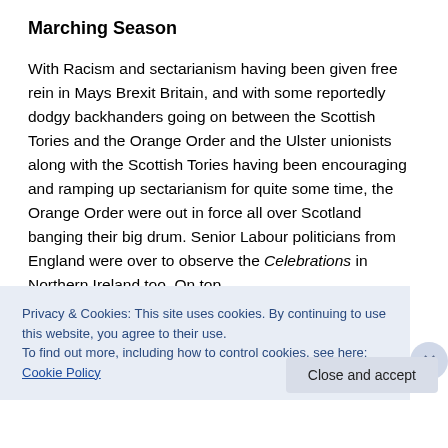Marching Season
With Racism and sectarianism having been given free rein in Mays Brexit Britain, and with some reportedly dodgy backhanders going on between the Scottish Tories and the Orange Order and the Ulster unionists along with the Scottish Tories having been encouraging and ramping up sectarianism for quite some time, the Orange Order were out in force all over Scotland banging their big drum. Senior Labour politicians from England were over to observe the Celebrations in Northern Ireland too. On top
Privacy & Cookies: This site uses cookies. By continuing to use this website, you agree to their use.
To find out more, including how to control cookies, see here: Cookie Policy